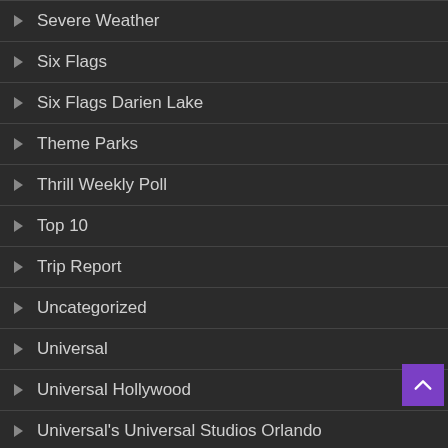Severe Weather
Six Flags
Six Flags Darien Lake
Theme Parks
Thrill Weekly Poll
Top 10
Trip Report
Uncategorized
Universal
Universal Hollywood
Universal's Universal Studios Orlando
Vekoma Rides
Webster Bens